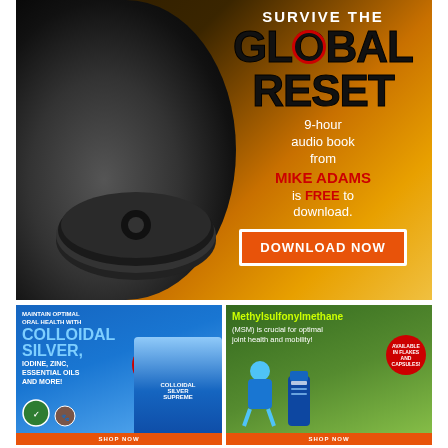[Figure (illustration): Advertisement banner: 'Survive the Global Reset' - 9-hour audio book from Mike Adams is FREE to download. Features gas mask and dumbbell imagery with dark/golden background. Includes DOWNLOAD NOW button.]
[Figure (illustration): Advertisement for Colloidal Silver oral health product with 'Finally Back in Stock!' badge. Blue background with water splash imagery.]
[Figure (illustration): Advertisement for Methylsulfonylmethane (MSM) joint health supplement. Green background with person and supplement bottle imagery. 'Available in flakes and capsules' badge.]